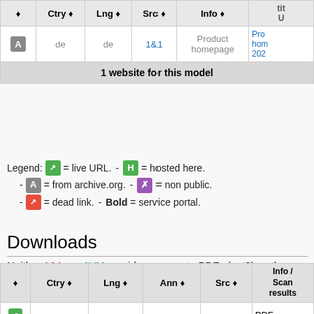|  | Ctry | Lng | Src | Info | title/URL |
| --- | --- | --- | --- | --- | --- |
| [A] | de | de | 1&1 | Product homepage | Pro... hom... 202... |
1 website for this model
Legend: [live icon] = live URL. - [H icon] = hosted here. - [A icon] = from archive.org. - [X icon] = non public. - [dead icon] = dead link. - Bold = service portal.
Downloads
Neither 1&1 nor AVM provide a separate PDFs (yet?) so the 7520v1 links are repeated here:
Daily updated index of all FRITZ!Box 7520 v2 downloads. Last update: 2022-08-27 03:57 GMT.
|  | Ctry | Lng | Ann | Src | Info / Scan results |
| --- | --- | --- | --- | --- | --- |
| [icon] |  |  |  |  | PDF |